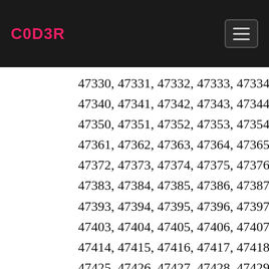C0D3R
47330, 47331, 47332, 47333, 47334, 47335, 47336... 47340, 47341, 47342, 47343, 47344, 47345, 47346... 47350, 47351, 47352, 47353, 47354, 47355, 47356... 47361, 47362, 47363, 47364, 47365, 47366, 47367... 47372, 47373, 47374, 47375, 47376, 47377, 47378... 47383, 47384, 47385, 47386, 47387, 47388, 47389... 47393, 47394, 47395, 47396, 47397, 47398, 47399... 47403, 47404, 47405, 47406, 47407, 47408, 47409... 47414, 47415, 47416, 47417, 47418, 47419, 47420... 47425, 47426, 47427, 47428, 47429, 47430, 47431... 47436, 47437, 47438, 47439, 47440, 47441, 47442... 47446, 47447, 47448, 47449, 47450, 47451, 47452... 47456, 47457, 47458, 47459, 47460, 47461, 47462... 47467, 47468, 47469, 47470, 47471, 47472, 47473... 47478, 47479, 47480, 47481, 47482, 47483, 47484... 47489, 47490, 47491, 47492, 47493...